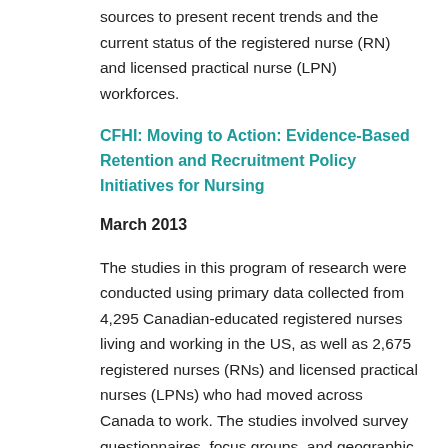sources to present recent trends and the current status of the registered nurse (RN) and licensed practical nurse (LPN) workforces.
CFHI: Moving to Action: Evidence-Based Retention and Recruitment Policy Initiatives for Nursing
March 2013
The studies in this program of research were conducted using primary data collected from 4,295 Canadian-educated registered nurses living and working in the US, as well as 2,675 registered nurses (RNs) and licensed practical nurses (LPNs) who had moved across Canada to work. The studies involved survey questionnaires, focus groups, and geographic mapping data. The surveys contained substantial additional